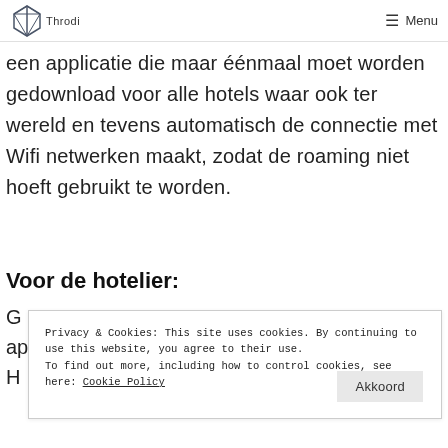Throdi | Menu
een applicatie die maar éénmaal moet worden gedownload voor alle hotels waar ook ter wereld en tevens automatisch de connectie met Wifi netwerken maakt, zodat de roaming niet hoeft gebruikt te worden.
Voor de hotelier:
G...
ap...
H...
Privacy & Cookies: This site uses cookies. By continuing to use this website, you agree to their use.
To find out more, including how to control cookies, see here: Cookie Policy
Akkoord